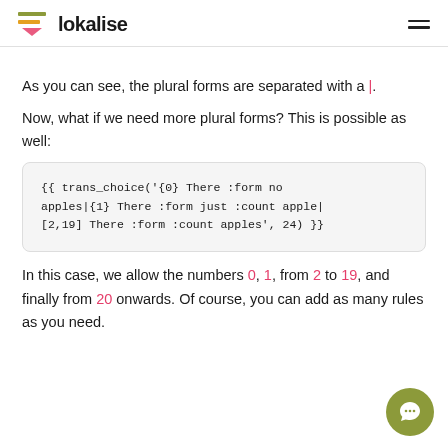lokalise
As you can see, the plural forms are separated with a |.
Now, what if we need more plural forms? This is possible as well:
{{ trans_choice('{0} There :form no apples|{1} There :form just :count apple|[2,19] There :form :count apples', 24) }}
In this case, we allow the numbers 0, 1, from 2 to 19, and finally from 20 onwards. Of course, you can add as many rules as you need.